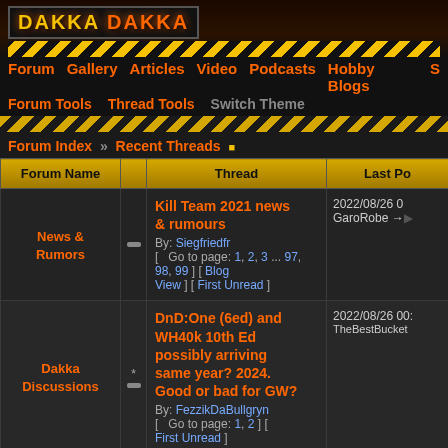DAKKA DAKKA
Forum Gallery Articles Video Podcasts Hobby Blogs S
Forum Tools   Thread Tools   Switch Theme
Forum Index » Recent Threads
| Forum Name | Thread | Last Po |
| --- | --- | --- |
| News & Rumors | Kill Team 2021 news & rumours
By: Siegfriedfr
[ Go to page: 1, 2, 3 ... 97, 98, 99 ] [ Blog View ] [ First Unread ] | 2022/08/26 0
GaroRobe → |
| Dakka Discussions | DnD:One (6ed) and WH40k 10th Ed possibly arriving same year? 2024. Good or bad for GW?
By: FezzikDaBullgryn
[ Go to page: 1, 2 ] [ First Unread ] | 2022/08/26 00:
TheBestBucket |